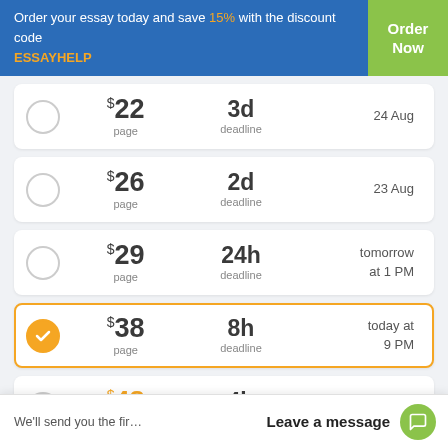Order your essay today and save 15% with the discount code ESSAYHELP
$22 / page — 3d deadline — 24 Aug
$26 / page — 2d deadline — 23 Aug
$29 / page — 24h deadline — tomorrow at 1 PM
$38 / page — 8h deadline — today at 9 PM (selected)
$48 / page — 4h deadline — today at 5 PM
We'll send you the fir…
Leave a message